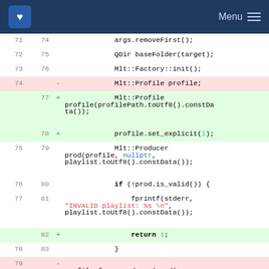KDE Menu
[Figure (screenshot): Code diff view showing changes to C++ source file with line numbers, removed lines in red background and added lines in green background. Code involves Mlt::Profile, Mlt::Producer, and related function calls.]